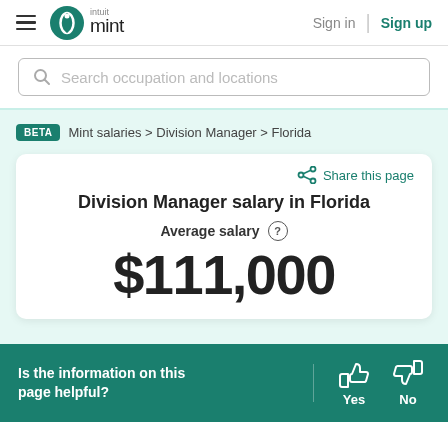intuit mint | Sign in | Sign up
Search occupation and locations
BETA   Mint salaries > Division Manager > Florida
Share this page
Division Manager salary in Florida
Average salary
$111,000
Is the information on this page helpful?  Yes  No